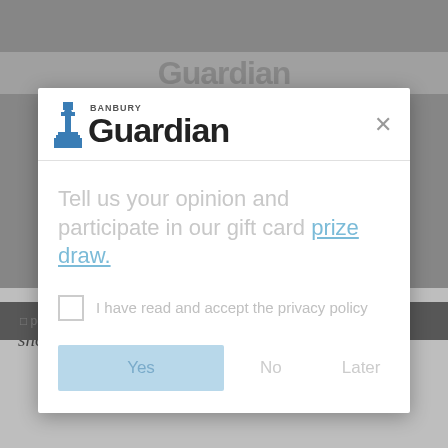[Figure (screenshot): Banbury Guardian website modal dialog overlay on a news article page. The modal contains the Banbury Guardian logo at top, a prompt to take a survey for a gift card prize draw, a privacy policy checkbox, and Yes/No/Later buttons. Behind the modal is a faded background of the same Guardian logo and a news article quote about girls and snooker.]
Tell us your opinion and participate in our gift card prize draw.
I have read and accept the privacy policy
No
Later
'It's long been a stereotype that girls don't play snooker, but those walls are being smashed down!'